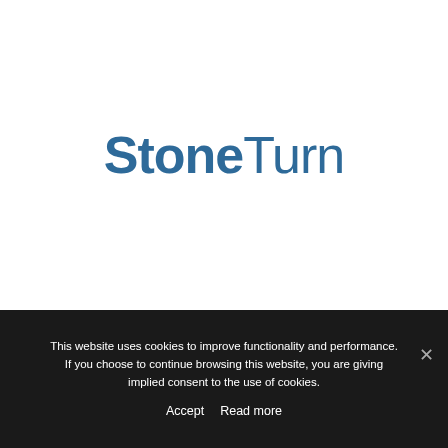[Figure (logo): StoneTurn company logo in dark blue/teal color. 'Stone' in bold and 'Turn' in regular weight, sans-serif font.]
This website uses cookies to improve functionality and performance. If you choose to continue browsing this website, you are giving implied consent to the use of cookies.
Accept   Read more